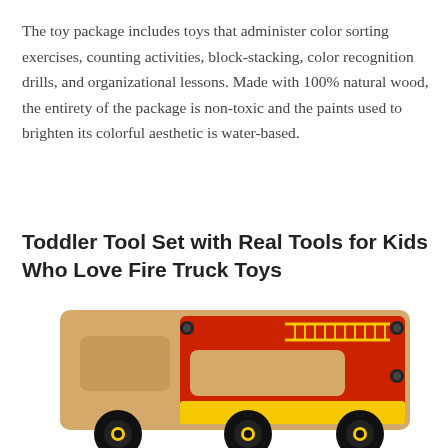The toy package includes toys that administer color sorting exercises, counting activities, block-stacking, color recognition drills, and organizational lessons. Made with 100% natural wood, the entirety of the package is non-toxic and the paints used to brighten its colorful aesthetic is water-based.
Toddler Tool Set with Real Tools for Kids Who Love Fire Truck Toys
[Figure (photo): A wooden toy fire truck with red and yellow paint, showing cutout windows, a ladder design on the side, black wheels, and yellow wheel hubs. The truck body is made of natural wood with a red painted side panel.]